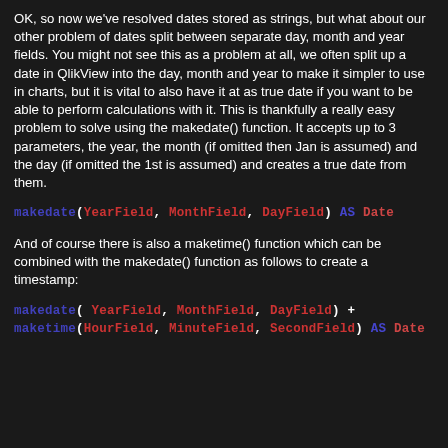OK, so now we've resolved dates stored as strings, but what about our other problem of dates split between separate day, month and year fields. You might not see this as a problem at all, we often split up a date in QlikView into the day, month and year to make it simpler to use in charts, but it is vital to also have it at as true date if you want to be able to perform calculations with it. This is thankfully a really easy problem to solve using the makedate() function. It accepts up to 3 parameters, the year, the month (if omitted then Jan is assumed) and the day (if omitted the 1st is assumed) and creates a true date from them.
[Figure (screenshot): Code snippet: makedate(YearField, MonthField, DayField) AS Date]
And of course there is also a maketime() function which can be combined with the makedate() function as follows to create a timestamp:
[Figure (screenshot): Code snippet: makedate(YearField, MonthField, DayField) + maketime(HourField, MinuteField, SecondField) AS Date]